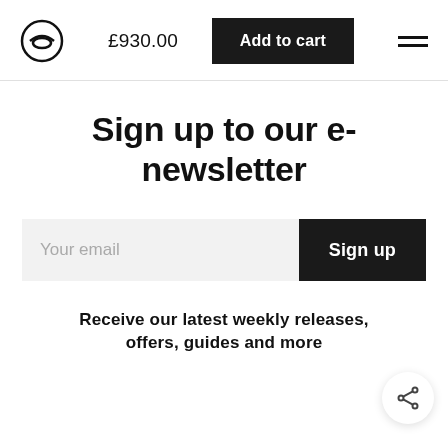£930.00  Add to cart
Sign up to our e-newsletter
Your email  Sign up
Receive our latest weekly releases, offers, guides and more